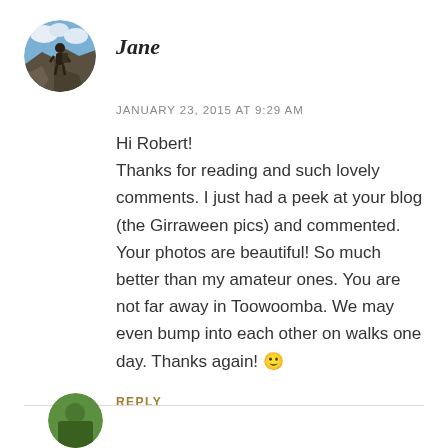[Figure (photo): Circular avatar photo of Jane, showing a person on a rocky mountain top with blue sky and clouds in background]
Jane
JANUARY 23, 2015 AT 9:29 AM
Hi Robert!
Thanks for reading and such lovely comments. I just had a peek at your blog (the Girraween pics) and commented. Your photos are beautiful! So much better than my amateur ones. You are not far away in Toowoomba. We may even bump into each other on walks one day. Thanks again! 🙂
REPLY